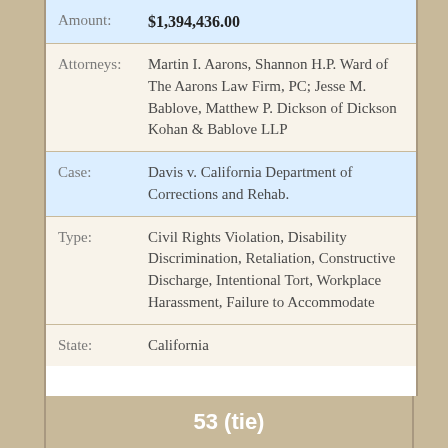| Amount: | $1,394,436.00 |
| Attorneys: | Martin I. Aarons, Shannon H.P. Ward of The Aarons Law Firm, PC; Jesse M. Bablove, Matthew P. Dickson of Dickson Kohan & Bablove LLP |
| Case: | Davis v. California Department of Corrections and Rehab. |
| Type: | Civil Rights Violation, Disability Discrimination, Retaliation, Constructive Discharge, Intentional Tort, Workplace Harassment, Failure to Accommodate |
| State: | California |
53 (tie)